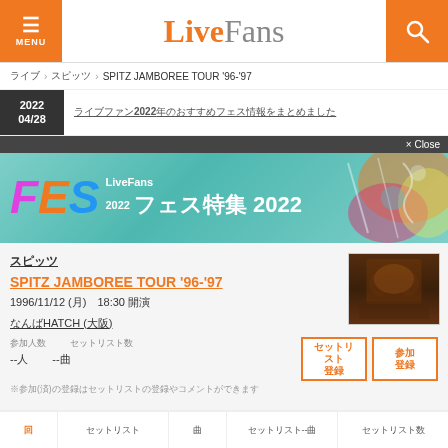LiveFans
ライブ > スピッツ > SPITZ JAMBOREE TOUR '96-'97
2022 04/28 ライブファン2022年のおすすめフェス情報をまとめました
[Figure (screenshot): LiveFans フェス特集 2022 advertisement banner with colorful festival graphics]
スピッツ
SPITZ JAMBOREE TOUR '96-'97
1996/11/12 (月) 18:30 開演
なんばHATCH (大阪)
[Figure (photo): Artist/concert photo showing performers on stage with warm lighting]
参加人数 セットリスト数
--人 --曲
セットリスト登録 参加登録
※参加(済)の登録はセットリストの登録やコメントができます
回 セットリスト 曲 セットリスト--曲 セットリスト数